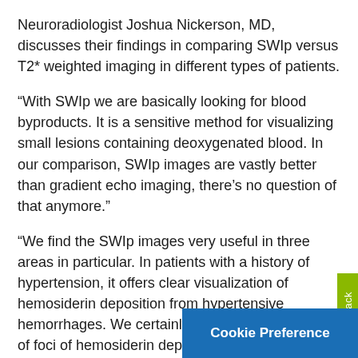Neuroradiologist Joshua Nickerson, MD, discusses their findings in comparing SWIp versus T2* weighted imaging in different types of patients.
“With SWIp we are basically looking for blood byproducts. It is a sensitive method for visualizing small lesions containing deoxygenated blood. In our comparison, SWIp images are vastly better than gradient echo imaging, there’s no question of that anymore.”
“We find the SWIp images very useful in three areas in particular. In patients with a history of hypertension, it offers clear visualization of hemosiderin deposition from hypertensive hemorrhages. We certainly see a greater number of foci of hemosiderin deposition on the SWIp images than on the T2* gradient echo images. In addition, it also helps us visualize amyloid depositions in patients with amyloid angiopathy.”
Dr. Nickerson mentions trauma patients as the third area where SWIp is useful. “We benefit from… patients at risk in cases with diff…